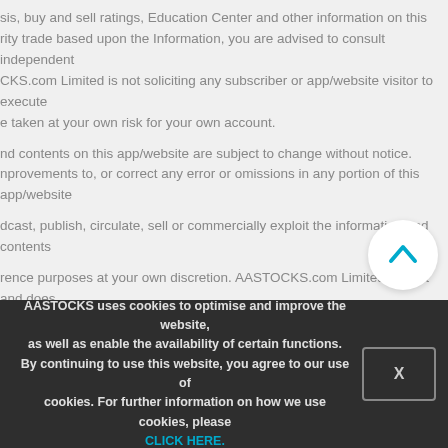sis, buy and sell ratings, Education Center and other information on this rity trade based upon the Information, you are advised to consult independent CKS.com Limited is not soliciting any subscriber or app/website visitor to execute e taken at your own risk for your own account.
nd contents on this app/website are subject to change without notice. nprovements to, or correct any error or omissions in any portion of this app/website
dcast, publish, circulate, sell or commercially exploit the information and contents
rence purposes at your own discretion. AASTOCKS.com Limited cannot and does te will be profitable. AASTOCKS.com Limited cannot guarantee, and the mance.
ite visitor but for which AASTOCKS.com Limited has no responsibility and only
advertisements or contents contained on, distributed through, or linked, ot and does not guarantee the quality or reliability of any products or information s app/website.
AASTOCKS uses cookies to optimise and improve the website, as well as enable the availability of certain functions. By continuing to use this website, you agree to our use of cookies. For further information on how we use cookies, please CLICK HERE.